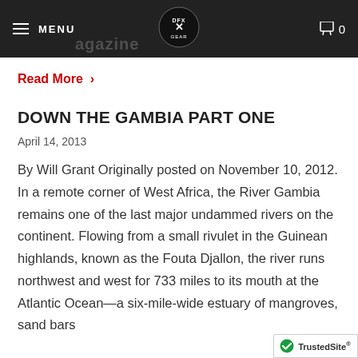MENU [logo] 0
Read More >
DOWN THE GAMBIA PART ONE
April 14, 2013
By Will Grant Originally posted on November 10, 2012. In a remote corner of West Africa, the River Gambia remains one of the last major undammed rivers on the continent. Flowing from a small rivulet in the Guinean highlands, known as the Fouta Djallon, the river runs northwest and west for 733 miles to its mouth at the Atlantic Ocean—a six-mile-wide estuary of mangroves, sand bars